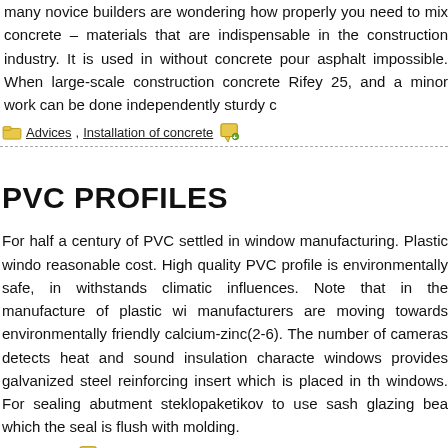many novice builders are wondering how properly you need to mix concrete – materials that are indispensable in the construction industry. It is used in without concrete pour asphalt impossible. When large-scale construction concrete Rifey 25, and a minor work can be done independently sturdy c
Advices, Installation of concrete
PVC PROFILES
For half a century of PVC settled in window manufacturing. Plastic wind reasonable cost. High quality PVC profile is environmentally safe, i withstands climatic influences. Note that in the manufacture of plastic w manufacturers are moving towards environmentally friendly calcium-zinc (2-6). The number of cameras detects heat and sound insulation charac windows provides galvanized steel reinforcing insert which is placed in t windows. For sealing abutment steklopaketikov to use sash glazing be which the seal is flush with molding.
Advices
ELECTROPLATING VS HOT-DIP GALVANIZ